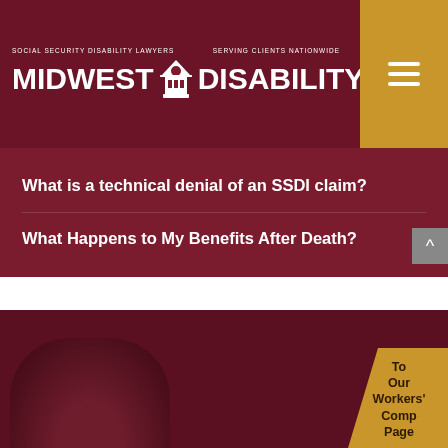[Figure (logo): Midwest Disability logo with white text on dark red background showing 'SOCIAL SECURITY DISABILITY LAWYERS' and 'SERVING CLIENTS NATIONWIDE' above the main logo text 'MIDWEST DISABILITY' with a building/courthouse icon]
What is a technical denial of an SSDI claim?
What Happens to My Benefits After Death?
[Figure (photo): Dark red tinted photo showing a person's face partially visible, very dark overlay on a deep maroon background]